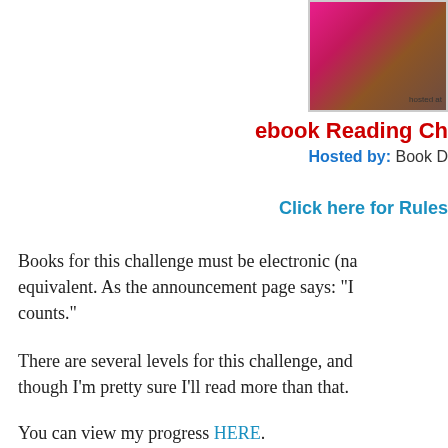[Figure (photo): Partial photo of an ebook reader device with pink/magenta and brown colors, with text 'hosted at' visible in lower right corner]
ebook Reading Ch
Hosted by: Book D
Click here for Rules
Books for this challenge must be electronic (na equivalent. As the announcement page says: "I counts."
There are several levels for this challenge, and though I'm pretty sure I'll read more than that.
You can view my progress HERE.